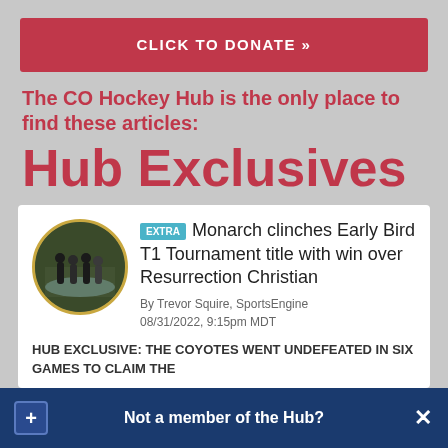CLICK TO DONATE »
The CO Hockey Hub is the only place to find these articles:
Hub Exclusives
[Figure (photo): Circular thumbnail photo of hockey players on ice]
EXTRA  Monarch clinches Early Bird T1 Tournament title with win over Resurrection Christian
By Trevor Squire, SportsEngine
08/31/2022, 9:15pm MDT
HUB EXCLUSIVE: THE COYOTES WENT UNDEFEATED IN SIX GAMES TO CLAIM THE
Not a member of the Hub?
Sign Up